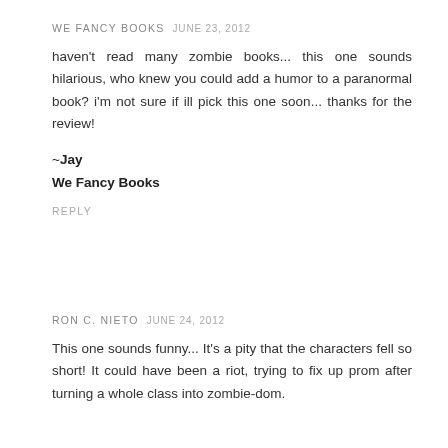WE FANCY BOOKS  JUNE 23, 2012
haven't read many zombie books... this one sounds hilarious, who knew you could add a humor to a paranormal book? i'm not sure if ill pick this one soon... thanks for the review!
~Jay
We Fancy Books
REPLY
RON C. NIETO  JUNE 24, 2012
This one sounds funny... It's a pity that the characters fell so short! It could have been a riot, trying to fix up prom after turning a whole class into zombie-dom.